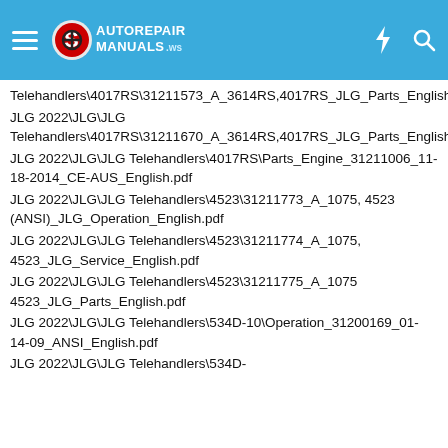AutoRepairManuals.ws header with hamburger menu, logo, bolt icon, search icon
Telehandlers\4017RS\31211573_A_3614RS,4017RS_JLG_Parts_English.pdf
JLG 2022\JLG\JLG Telehandlers\4017RS\31211670_A_3614RS,4017RS_JLG_Parts_English.pdf
JLG 2022\JLG\JLG Telehandlers\4017RS\Parts_Engine_31211006_11-18-2014_CE-AUS_English.pdf
JLG 2022\JLG\JLG Telehandlers\4523\31211773_A_1075, 4523 (ANSI)_JLG_Operation_English.pdf
JLG 2022\JLG\JLG Telehandlers\4523\31211774_A_1075, 4523_JLG_Service_English.pdf
JLG 2022\JLG\JLG Telehandlers\4523\31211775_A_1075 4523_JLG_Parts_English.pdf
JLG 2022\JLG\JLG Telehandlers\534D-10\Operation_31200169_01-14-09_ANSI_English.pdf
JLG 2022\JLG\JLG Telehandlers\534D-